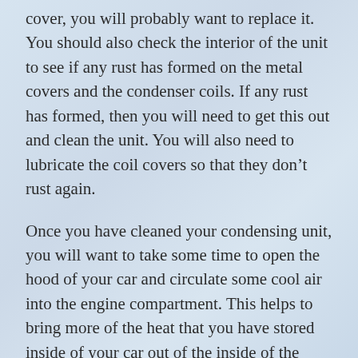cover, you will probably want to replace it. You should also check the interior of the unit to see if any rust has formed on the metal covers and the condenser coils. If any rust has formed, then you will need to get this out and clean the unit. You will also need to lubricate the coil covers so that they don’t rust again.
Once you have cleaned your condensing unit, you will want to take some time to open the hood of your car and circulate some cool air into the engine compartment. This helps to bring more of the heat that you have stored inside of your car out of the inside of the unit. You will also want to make sure that you are not overloading your car. If you overload your condenser coils, you will find that they will quickly